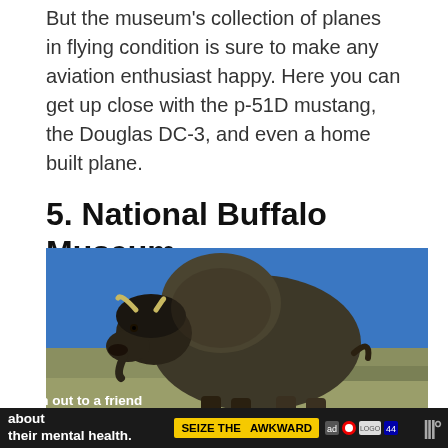But the museum's collection of planes in flying condition is sure to make any aviation enthusiast happy. Here you can get up close with the p-51D mustang, the Douglas DC-3, and even a home built plane.
5. National Buffalo Museum
[Figure (photo): Large statue or sculpture of a bison/buffalo against a blue sky, with a flat landscape and small town visible in the background.]
[Figure (other): Advertisement banner: 'Reach out to a friend about their mental health. Learn more' with 'SEIZE THE AWKWARD' badge and media logos.]